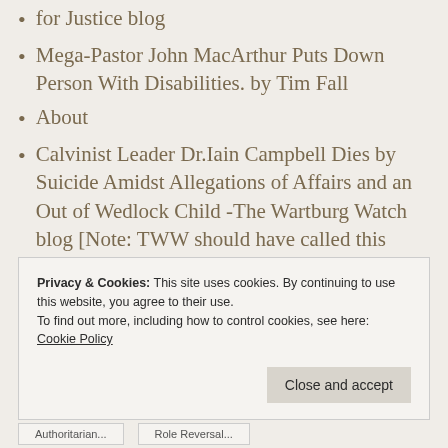for Justice blog
Mega-Pastor John MacArthur Puts Down Person With Disabilities. by Tim Fall
About
Calvinist Leader Dr.Iain Campbell Dies by Suicide Amidst Allegations of Affairs and an Out of Wedlock Child -The Wartburg Watch blog [Note: TWW should have called this 'Undue Influence' by a Predatory Pastor]
Privacy & Cookies: This site uses cookies. By continuing to use this website, you agree to their use.
To find out more, including how to control cookies, see here: Cookie Policy